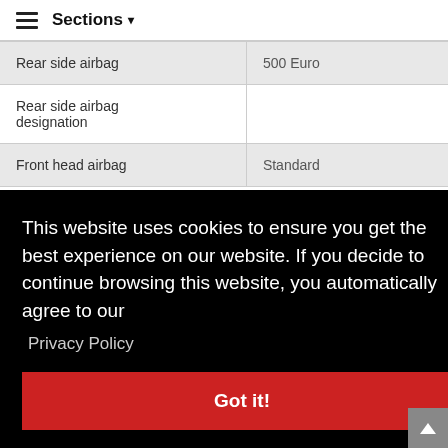≡ Sections ▾
| Feature | Value |
| --- | --- |
| Rear side airbag | 500 Euro |
| Rear side airbag designation |  |
| Front head airbag | Standard |
This website uses cookies to ensure you get the best experience on our website. If you decide to continue browsing this website, you automatically agree to our Privacy Policy Got it!